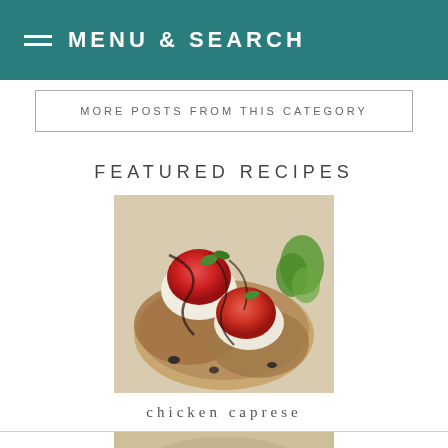MENU & SEARCH
MORE POSTS FROM THIS CATEGORY
FEATURED RECIPES
[Figure (photo): Chicken caprese dish with grilled chicken topped with tomatoes, mozzarella, balsamic glaze and fresh herbs on a plate]
chicken caprese
[Figure (photo): Partial view of another featured recipe dish at the bottom of the page]